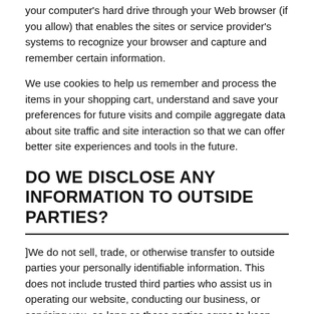your computer's hard drive through your Web browser (if you allow) that enables the sites or service provider's systems to recognize your browser and capture and remember certain information.
We use cookies to help us remember and process the items in your shopping cart, understand and save your preferences for future visits and compile aggregate data about site traffic and site interaction so that we can offer better site experiences and tools in the future.
DO WE DISCLOSE ANY INFORMATION TO OUTSIDE PARTIES?
]We do not sell, trade, or otherwise transfer to outside parties your personally identifiable information. This does not include trusted third parties who assist us in operating our website, conducting our business, or servicing you, so long as those parties agree to keep this information confidential. We may also release your information when we believe release is appropriate to comply with the law, enforce our site policies, or protect ours or other's rights, property, or safety. However, non-personally identifiable visitor information may be provided to other parties for marketing, advertising, or other uses.